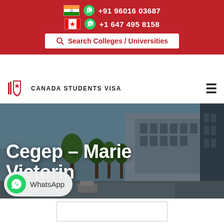+91 96016 03687  +1 647 495 8158
Search Colleges / Universities
[Figure (logo): Canada Students Visa logo with red shield and book icon]
Cegep – Marie Victorin
[Figure (photo): Exterior photo of Cegep Marie Victorin campus building with trees and blue sky]
WhatsApp